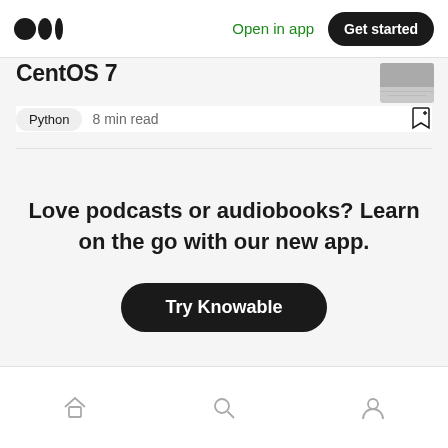Medium logo | Open in app | Get started
CentOS 7
Python  8 min read
Love podcasts or audiobooks? Learn on the go with our new app.
Try Knowable
Home | Search | Profile